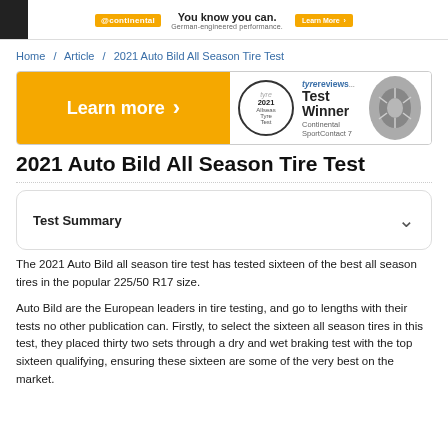You know you can. German-engineered performance.
Home / Article / 2021 Auto Bild All Season Tire Test
[Figure (infographic): Advertisement banner with Learn more button on orange background, and Test Winner badge for Continental SportContact 7 from tyre reviews]
2021 Auto Bild All Season Tire Test
Test Summary
The 2021 Auto Bild all season tire test has tested sixteen of the best all season tires in the popular 225/50 R17 size.
Auto Bild are the European leaders in tire testing, and go to lengths with their tests no other publication can. Firstly, to select the sixteen all season tires in this test, they placed thirty two sets through a dry and wet braking test with the top sixteen qualifying, ensuring these sixteen are some of the very best on the market.